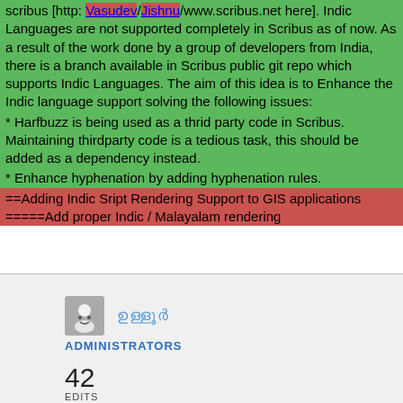scribus [http: Vasudev/Jishnu/www.scribus.net here]. Indic Languages are not supported completely in Scribus as of now. As a result of the work done by a group of developers from India, there is a branch available in Scribus public git repo which supports Indic Languages. The aim of this idea is to Enhance the Indic language support solving the following issues:
* Harfbuzz is being used as a thrid party code in Scribus. Maintaining thirdparty code is a tedious task, this should be added as a dependency instead.
* Enhance hyphenation by adding hyphenation rules.
==Adding Indic Sript Rendering Support to GIS applications =====Add proper Indic / Malayalam rendering
ഉള്ളൂർ
ADMINISTRATORS
42
EDITS